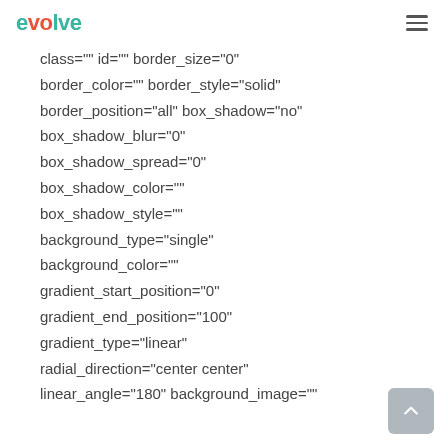evolve [hamburger menu]
class="" id="" border_size="0"
border_color="" border_style="solid"
border_position="all" box_shadow="no"
box_shadow_blur="0"
box_shadow_spread="0"
box_shadow_color=""
box_shadow_style=""
background_type="single"
background_color=""
gradient_start_position="0"
gradient_end_position="100"
gradient_type="linear"
radial_direction="center center"
linear_angle="180" background_image=""